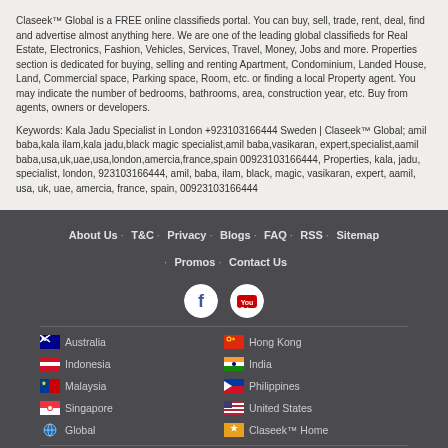Claseek™ Global is a FREE online classifieds portal. You can buy, sell, trade, rent, deal, find and advertise almost anything here. We are one of the leading global classifieds for Real Estate, Electronics, Fashion, Vehicles, Services, Travel, Money, Jobs and more. Properties section is dedicated for buying, selling and renting Apartment, Condominium, Landed House, Land, Commercial space, Parking space, Room, etc. or finding a local Property agent. You may indicate the number of bedrooms, bathrooms, area, construction year, etc. Buy from agents, owners or developers.
Keywords: Kala Jadu Specialist in London +923103166444 Sweden | Claseek™ Global; amil baba,kala ilam,kala jadu,black magic specialist,amil baba,vasikaran, expert,specialist,aamil baba,usa,uk,uae,usa,london,amercia,france,spain 00923103166444, Properties, kala, jadu, specialist, london, 923103166444, amil, baba, ilam, black, magic, vasikaran, expert, aamil, usa, uk, uae, amercia, france, spain, 00923103166444
About Us · T&C · Privacy · Blogs · FAQ · RSS · Sitemap · Promos · Contact Us
Copyright © 2013-2022 Claseek.com.  All rights reserved.